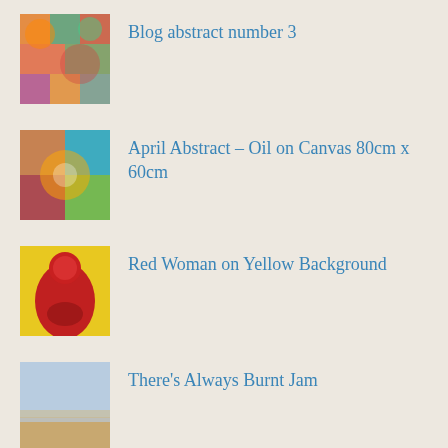Blog abstract number 3
April Abstract – Oil on Canvas 80cm x 60cm
Red Woman on Yellow Background
There's Always Burnt Jam
Blodyn set to Flower soon in New Poetry Collection
Home
About